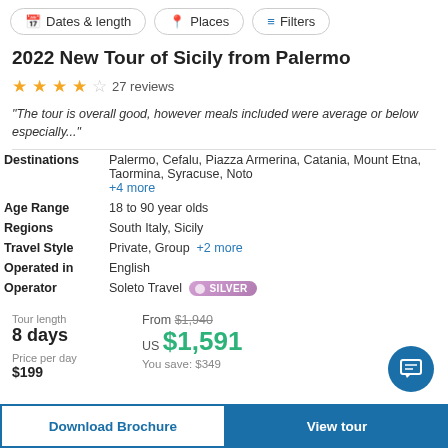Dates & length | Places | Filters
2022 New Tour of Sicily from Palermo
★★★★☆ 27 reviews
"The tour is overall good, however meals included were average or below especially..."
| Field | Value |
| --- | --- |
| Destinations | Palermo, Cefalu, Piazza Armerina, Catania, Mount Etna, Taormina, Syracuse, Noto +4 more |
| Age Range | 18 to 90 year olds |
| Regions | South Italy, Sicily |
| Travel Style | Private, Group +2 more |
| Operated in | English |
| Operator | Soleto Travel SILVER |
Tour length: 8 days | Price per day: $199 | From $1,940 | US $1,591 | You save: $349